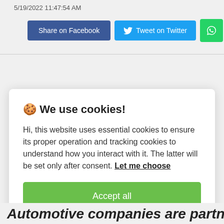5/19/2022 11:47:54 AM
[Figure (screenshot): Social share buttons: Share on Facebook (blue), Tweet on Twitter (light blue with Twitter bird icon), WhatsApp (green with chat icon), LinkedIn (dark blue with 'in' logo)]
🍪 We use cookies!

Hi, this website uses essential cookies to ensure its proper operation and tracking cookies to understand how you interact with it. The latter will be set only after consent. Let me choose

Accept all

Reject all
Automotive companies are partnering